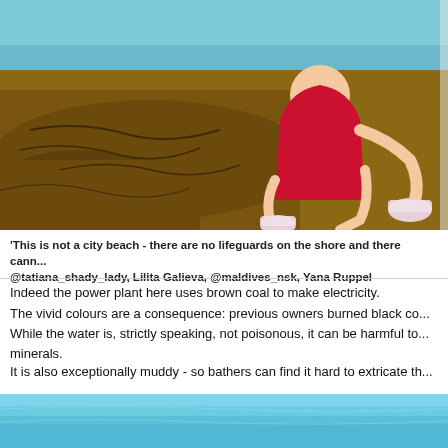[Figure (photo): Woman in red dress sitting on a rocky outcrop by turquoise water, wearing colorful sneakers, with rock and water background.]
'This is not a city beach - there are no lifeguards on the shore and there can... @tatiana_shady_lady, Lilita Galieva, @maldives_nsk, Yana Ruppel
Indeed the power plant here uses brown coal to make electricity.
The vivid colours are a consequence: previous owners burned black co...
While the water is, strictly speaking, not poisonous, it can be harmful to... minerals.
It is also exceptionally muddy - so bathers can find it hard to extricate th...
[Figure (photo): Turquoise-coloured water, bottom portion of page.]